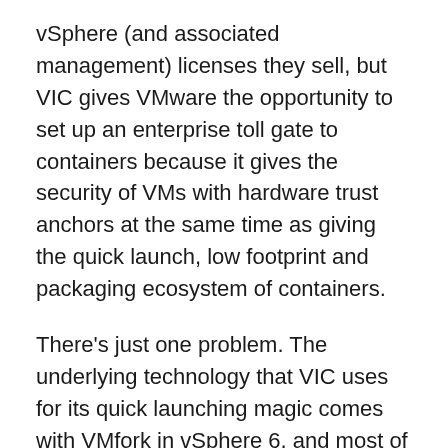vSphere (and associated management) licenses they sell, but VIC gives VMware the opportunity to set up an enterprise toll gate to containers because it gives the security of VMs with hardware trust anchors at the same time as giving the quick launch, low footprint and packaging ecosystem of containers.
There's just one problem. The underlying technology that VIC uses for its quick launching magic comes with VMfork in vSphere 6, and most of the world is still running vSphere 5.5. Furthermore containers have swept through the industry so fast because most people already have a Linux that can run them, so they haven't had to wait for the hardware refresh cycles that went along with most ESX/vSphere deployments/upgrades. I'm hopeful that VIC will be released with vSphere 5.5 compatibility; after all